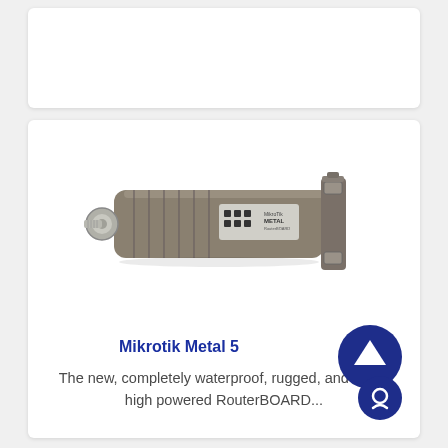[Figure (photo): Top white card placeholder area (partially visible, cropped at top)]
[Figure (photo): MikroTik Metal 5 outdoor wireless router device - cylindrical metal enclosure with ribbed heat fins, N-type antenna connector on left, LED indicators, and mounting bracket on right]
Mikrotik Metal 5
The new, completely waterproof, rugged, and super high powered RouterBOARD...